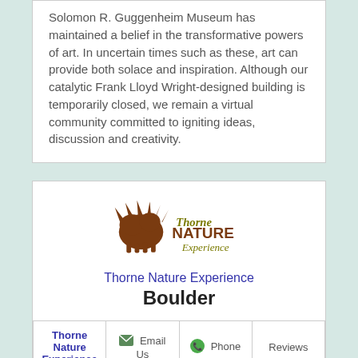Solomon R. Guggenheim Museum has maintained a belief in the transformative powers of art. In uncertain times such as these, art can provide both solace and inspiration. Although our catalytic Frank Lloyd Wright-designed building is temporarily closed, we remain a virtual community committed to igniting ideas, discussion and creativity.
[Figure (logo): Thorne Nature Experience logo with brown animal/nature graphic and text]
Thorne Nature Experience
Boulder
| Thorne Nature Experience | Email Us | Phone | Reviews |
| --- | --- | --- | --- |
This highly searchable database contains almost 100 outdoor and environmental activities from over 20 national and Colorado-based organizations. The database and the activities